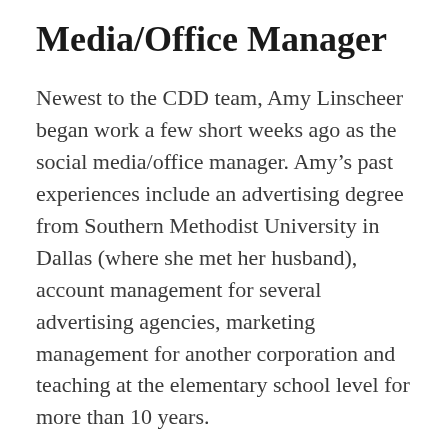Media/Office Manager
Newest to the CDD team, Amy Linscheer began work a few short weeks ago as the social media/office manager. Amy's past experiences include an advertising degree from Southern Methodist University in Dallas (where she met her husband), account management for several advertising agencies, marketing management for another corporation and teaching at the elementary school level for more than 10 years.
She and her husband leapt at the opportunity to move back to their friends and favorite places in the Dallas